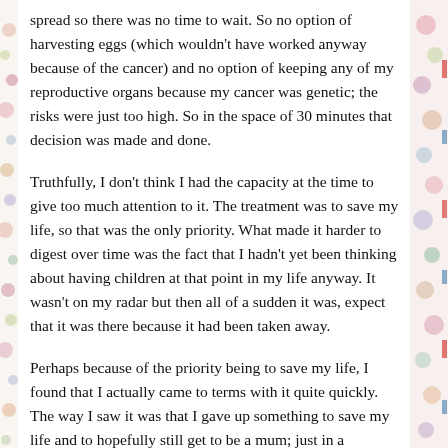spread so there was no time to wait. So no option of harvesting eggs (which wouldn't have worked anyway because of the cancer) and no option of keeping any of my reproductive organs because my cancer was genetic; the risks were just too high. So in the space of 30 minutes that decision was made and done.
Truthfully, I don't think I had the capacity at the time to give too much attention to it. The treatment was to save my life, so that was the only priority. What made it harder to digest over time was the fact that I hadn't yet been thinking about having children at that point in my life anyway. It wasn't on my radar but then all of a sudden it was, expect that it was there because it had been taken away.
Perhaps because of the priority being to save my life, I found that I actually came to terms with it quite quickly. The way I saw it was that I gave up something to save my life and to hopefully still get to be a mum; just in a different way. I